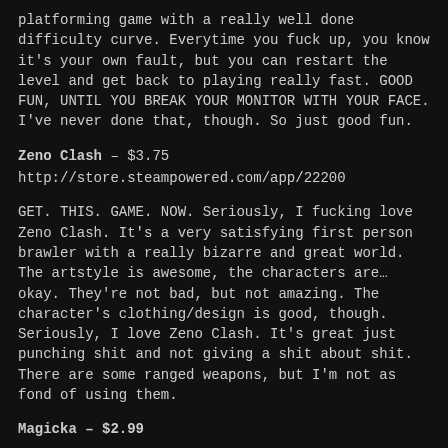platforming game with a really well done difficulty curve. Everytime you fuck up, you know it's your own fault, but you can restart the level and get back to playing really fast. GOOD FUN, UNTIL YOU BREAK YOUR MONITOR WITH YOUR FACE. I've never done that, though. So just good fun.
Zeno Clash – $3.75
http://store.steampowered.com/app/22200
GET. THIS. GAME. NOW. Seriously, I fucking love Zeno Clash. It's a very satisfying first person brawler with a really bizarre and great world. The artstyle is awesome, the characters are… okay. They're not bad, but not amazing. The character's clothing/design is good, though. Seriously, I love Zeno Clash. It's great just punching shit and not giving a shit about shit. There are some ranged weapons, but I'm not as fond of using them.
Magicka – $2.99